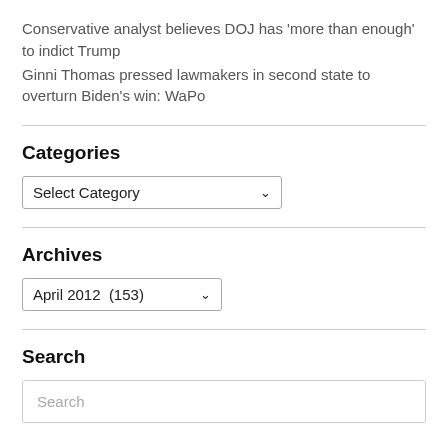Conservative analyst believes DOJ has 'more than enough' to indict Trump
Ginni Thomas pressed lawmakers in second state to overturn Biden's win: WaPo
Categories
[Figure (other): Dropdown select box labeled 'Select Category']
Archives
[Figure (other): Dropdown select box showing 'April 2012  (153)']
Search
[Figure (other): Search input box with placeholder text 'Search']